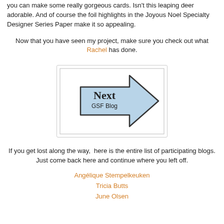you can make some really gorgeous cards. Isn't this leaping deer adorable. And of course the foil highlights in the Joyous Noel Specialty Designer Series Paper make it so appealing.
Now that you have seen my project, make sure you check out what Rachel has done.
[Figure (illustration): A right-pointing arrow button with light blue fill and dark outline, labeled 'Next' and 'GSF Blog' inside, inside a white bordered box.]
If you get lost along the way,  here is the entire list of participating blogs. Just come back here and continue where you left off.
Angélique Stempelkeuken
Tricia Butts
June Olsen